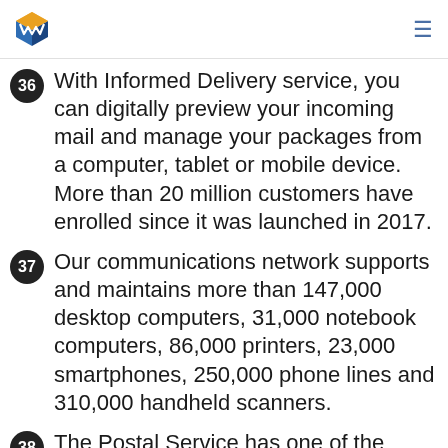USPS logo and navigation menu
36 With Informed Delivery service, you can digitally preview your incoming mail and manage your packages from a computer, tablet or mobile device. More than 20 million customers have enrolled since it was launched in 2017.
37 Our communications network supports and maintains more than 147,000 desktop computers, 31,000 notebook computers, 86,000 printers, 23,000 smartphones, 250,000 phone lines and 310,000 handheld scanners.
38 The Postal Service has one of the world’s largest computer networks — linking more than 31,000 facilities and